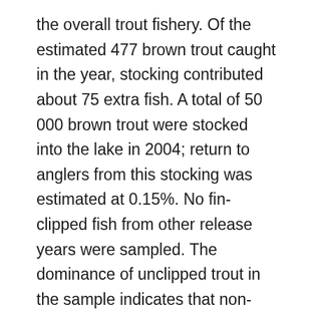the overall trout fishery. Of the estimated 477 brown trout caught in the year, stocking contributed about 75 extra fish. A total of 50 000 brown trout were stocked into the lake in 2004; return to anglers from this stocking was estimated at 0.15%. No fin-clipped fish from other release years were sampled. The dominance of unclipped trout in the sample indicates that non-hatchery stock is present in the fishery. The origin of the non clipped fish is not known—they could be from natural recruitment events or from the 2003 stocking. The sampled brown trout were generally thin and in poor condition overall. The condition factor of brown trout varied across the project sampling timeframe but was not significantly